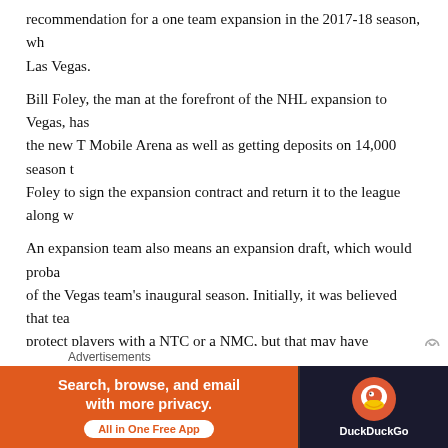recommendation for a one team expansion in the 2017-18 season, wh... Las Vegas.
Bill Foley, the man at the forefront of the NHL expansion to Vegas, has... the new T Mobile Arena as well as getting deposits on 14,000 season t... Foley to sign the expansion contract and return it to the league along w...
An expansion team also means an expansion draft, which would proba... of the Vegas team's inaugural season. Initially, it was believed that tea... protect players with a NTC or a NMC, but that may have changed.
According to an update from Larry Brooks, teams would only be requir... NMC that extend through the 2017-18 season and beyond. Players wit... would not be automatically protected.
A lot of the talk this offseason surrounding the Rangers was about whe... would bite the bullet and buy out Dan Girardi, or whether or not the tea... him for just about anything at this point.
Advertisements
[Figure (other): DuckDuckGo advertisement banner: orange left section with text 'Search, browse, and email with more privacy. All in One Free App', dark right section with DuckDuckGo logo and duck icon.]